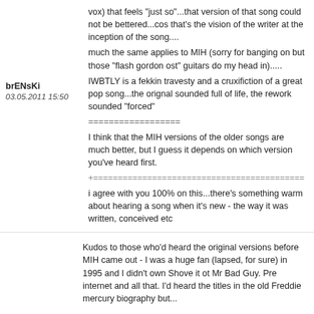vox) that feels "just so"...that version of that song could not be bettered...cos that's the vision of the writer at the inception of the song....
much the same applies to MIH (sorry for banging on but those "flash gordon ost" guitars do my head in).....
IWBTLY is a fekkin travesty and a cruxifiction of a great pop song...the orignal sounded full of life, the rework sounded "forced"
==================
brENsKi
03.05.2011 15:50
I think that the MIH versions of the older songs are much better, but I guess it depends on which version you've heard first.
+==========================================
i agree with you 100% on this...there's something warm about hearing a song when it's new - the way it was written, conceived etc
Kudos to those who'd heard the original versions before MIH came out - I was a huge fan (lapsed, for sure) in 1995 and I didn't own Shove it ot Mr Bad Guy. Pre internet and all that. I'd heard the titles in the old Freddie mercury biography but...